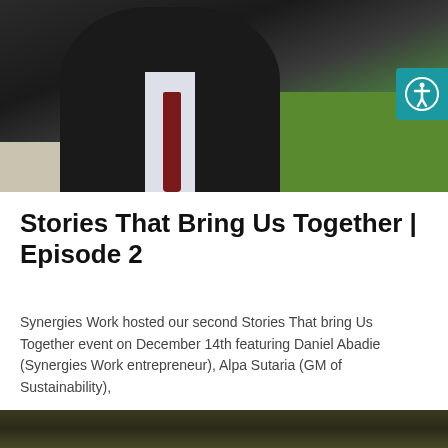[Figure (photo): Photograph of a man in a dark blazer, white dress shirt, and dark red/maroon tie, standing outdoors on a grassy area with a sidewalk visible to the left.]
Stories That Bring Us Together | Episode 2
Synergies Work hosted our second Stories That bring Us Together event on December 14th featuring Daniel Abadie (Synergies Work entrepreneur), Alpa Sutaria (GM of Sustainability),
[Figure (photo): Partial photograph visible at the bottom of the page, showing a dark outdoor or indoor scene.]